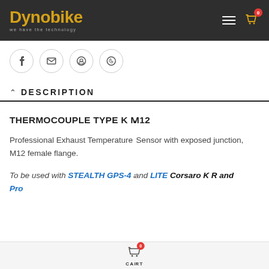Dynobike we have the technology
[Figure (logo): Dynobike logo with yellow text and subtitle 'we have the technology']
DESCRIPTION
THERMOCOUPLE TYPE K M12
Professional Exhaust Temperature Sensor with exposed junction, M12 female flange.
To be used with STEALTH GPS-4 and LITE Corsaro K R and Pro
0 CART